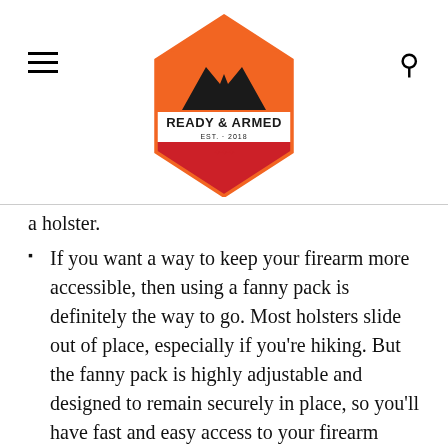Ready & Armed — navigation header with logo
a holster.
If you want a way to keep your firearm more accessible, then using a fanny pack is definitely the way to go. Most holsters slide out of place, especially if you're hiking. But the fanny pack is highly adjustable and designed to remain securely in place, so you'll have fast and easy access to your firearm when you need it the most.
Most models are more affordable than large backpacks and top of the line holsters. Purchasing this type of carry option will be a great choice for the gun owner on a tight budget.
These packs can be worn in public as an